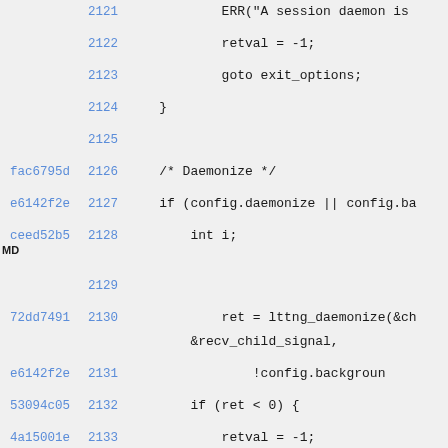Code listing showing lines 2121-2135 with git hashes and line numbers
2121: ERR("A session daemon is
2122: retval = -1;
2123: goto exit_options;
2124: }
2125: (empty)
fac6795d 2126: /* Daemonize */
e6142f2e 2127: if (config.daemonize || config.ba
ceed52b5 MD 2128: int i;
2129: (empty)
72dd7491 2130: ret = lttng_daemonize(&ch &recv_child_signal,
e6142f2e 2131: !config.backgroun
53094c05 2132: if (ret < 0) {
4a15001e MD 2133: retval = -1;
2134: goto exit_options
53094c05 2135: }